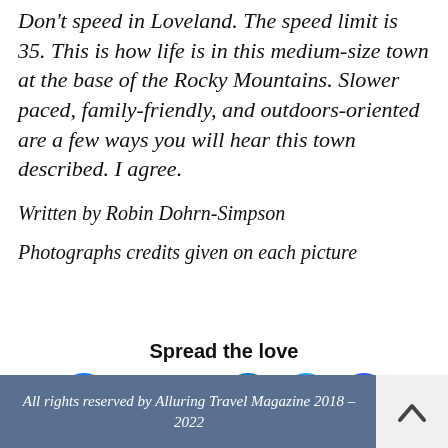Don't speed in Loveland. The speed limit is 35. This is how life is in this medium-size town at the base of the Rocky Mountains. Slower paced, family-friendly, and outdoors-oriented are a few ways you will hear this town described. I agree.
Written by Robin Dohrn-Simpson
Photographs credits given on each picture
Spread the love
[Figure (other): Social media icons: Facebook circle, Facebook Share button, LinkedIn circle, Twitter circle, Instagram circle]
All rights reserved by Alluring Travel Magazine 2018 – 2022